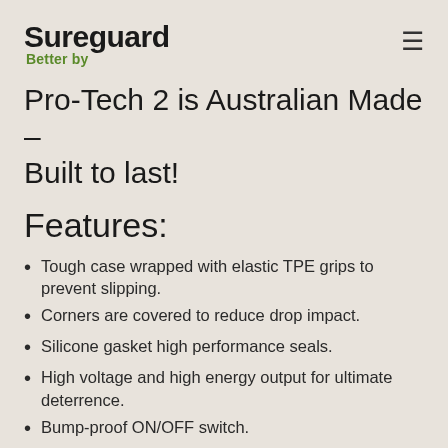Sureguard Better by
Pro-Tech 2 is Australian Made – Built to last!
Features:
Tough case wrapped with elastic TPE grips to prevent slipping.
Corners are covered to reduce drop impact.
Silicone gasket high performance seals.
High voltage and high energy output for ultimate deterrence.
Bump-proof ON/OFF switch.